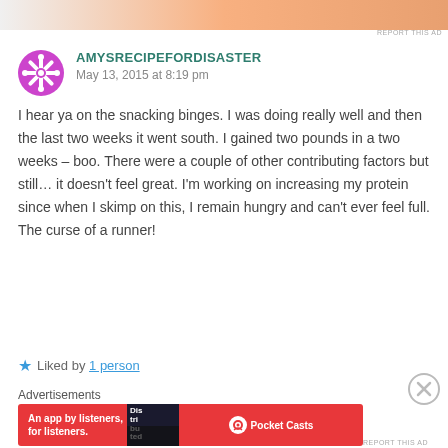[Figure (other): Top advertisement banner image with orange/peach gradient]
REPORT THIS AD
AMYSRECIPEFORDISASTER
May 13, 2015 at 8:19 pm
I hear ya on the snacking binges. I was doing really well and then the last two weeks it went south. I gained two pounds in a two weeks – boo. There were a couple of other contributing factors but still… it doesn't feel great. I'm working on increasing my protein since when I skimp on this, I remain hungry and can't ever feel full. The curse of a runner!
★ Liked by 1 person
Advertisements
[Figure (other): Pocket Casts advertisement banner: red background, 'An app by listeners, for listeners.' with phone image and Pocket Casts logo]